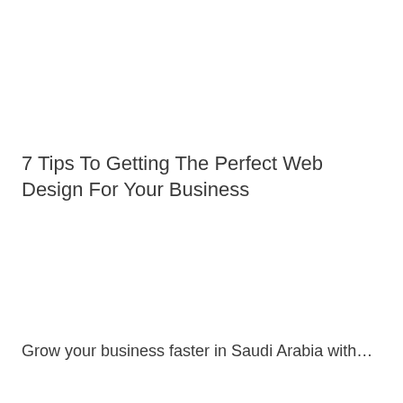7 Tips To Getting The Perfect Web Design For Your Business
Grow your business faster in Saudi Arabia with…